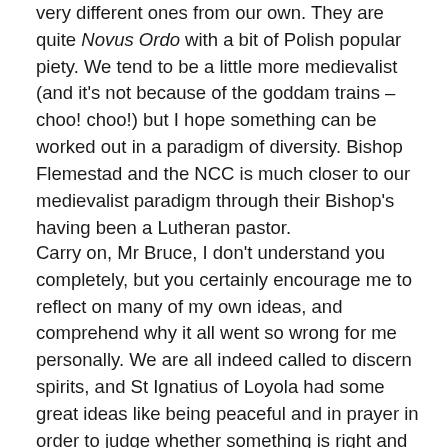very different ones from our own. They are quite Novus Ordo with a bit of Polish popular piety. We tend to be a little more medievalist (and it's not because of the goddam trains – choo! choo!) but I hope something can be worked out in a paradigm of diversity. Bishop Flemestad and the NCC is much closer to our medievalist paradigm through their Bishop's having been a Lutheran pastor.
Carry on, Mr Bruce, I don't understand you completely, but you certainly encourage me to reflect on many of my own ideas, and comprehend why it all went so wrong for me personally. We are all indeed called to discern spirits, and St Ignatius of Loyola had some great ideas like being peaceful and in prayer in order to judge whether something is right and whether we are deluded by the Evil One. We need to be challenged, and this is why I don't pass off this old curmudgeon as a crank (he calls me a